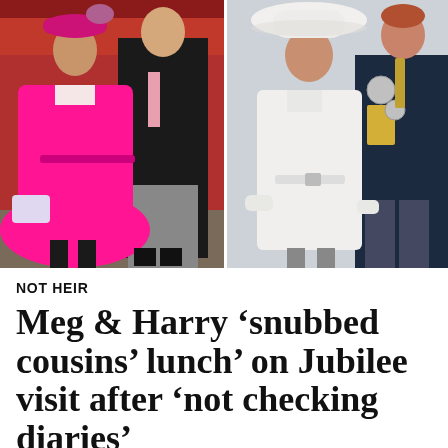[Figure (photo): Two side-by-side photos: left shows a woman in a bright pink dress coat and man in black suit with pink tie at a formal outdoor event; right shows a woman in white coat and wide-brim hat holding hands with a man in dark naval uniform with medals.]
NOT HEIR
Meg & Harry ‘snubbed cousins’ lunch’ on Jubilee visit after ‘not checking diaries’